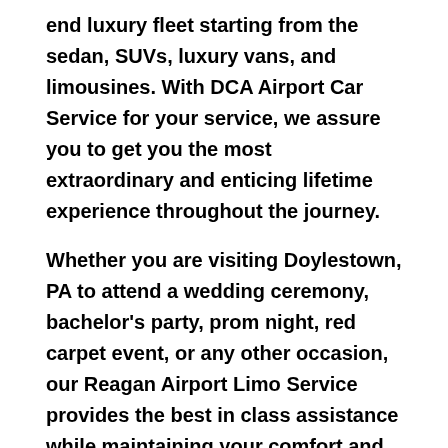end luxury fleet starting from the sedan, SUVs, luxury vans, and limousines. With DCA Airport Car Service for your service, we assure you to get you the most extraordinary and enticing lifetime experience throughout the journey.
Whether you are visiting Doylestown, PA to attend a wedding ceremony, bachelor's party, prom night, red carpet event, or any other occasion, our Reagan Airport Limo Service provides the best in class assistance while maintaining your comfort and style. Limo Service Reagan Airport provides an alluring car rental service with professional and talented driver with the prime concern of utmost customer satisfaction and integrity.